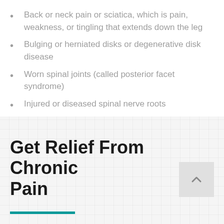Back or neck pain or sciatica, which is pain, weakness, or tingling that extends down the leg
Bulging or herniated disks or degenerative disk disease
Worn spinal joints (called posterior facet syndrome)
Injured or diseased spinal nerve roots
Get Relief From Chronic Pain